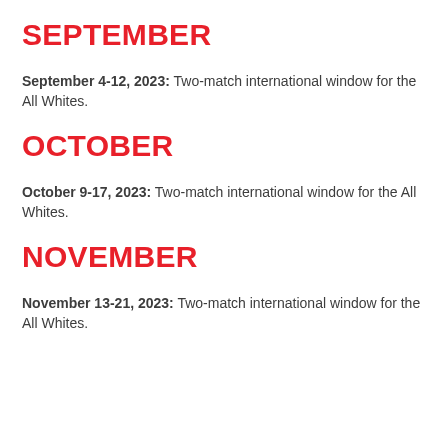SEPTEMBER
September 4-12, 2023: Two-match international window for the All Whites.
OCTOBER
October 9-17, 2023: Two-match international window for the All Whites.
NOVEMBER
November 13-21, 2023: Two-match international window for the All Whites.